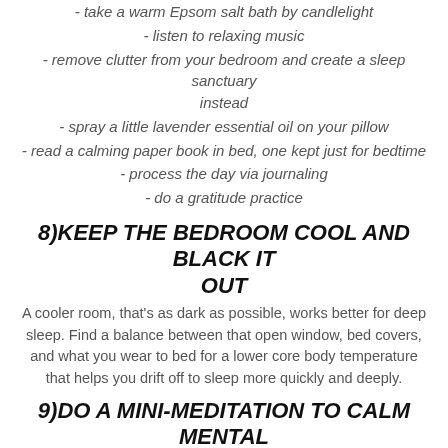- take a warm Epsom salt bath by candlelight
- listen to relaxing music
- remove clutter from your bedroom and create a sleep sanctuary instead
- spray a little lavender essential oil on your pillow
- read a calming paper book in bed, one kept just for bedtime
- process the day via journaling
- do a gratitude practice
8)KEEP THE BEDROOM COOL AND BLACK IT OUT
A cooler room, that’s as dark as possible, works better for deep sleep. Find a balance between that open window, bed covers, and what you wear to bed for a lower core body temperature that helps you drift off to sleep more quickly and deeply.
9)DO A MINI-MEDITATION TO CALM MENTAL CHATTER
Here’s a 2-min tool that will set you up for a deep rejuvenating sleep:
• Lie in bed, lights out.
• Bring your index fingers up by your nose, one on each side.
• Begin to inhale and exhale through your nose. Slow your breath